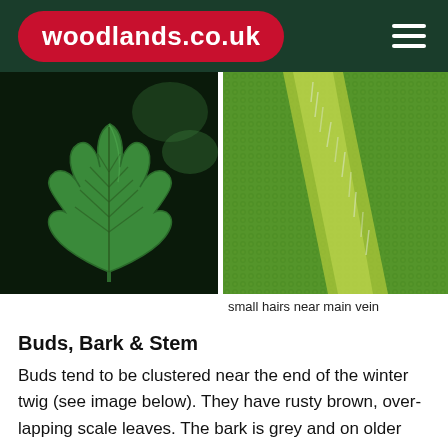woodlands.co.uk
[Figure (photo): Close-up photo of a green oak leaf showing lobed edges and prominent veins against a dark background]
[Figure (photo): Macro close-up of leaf surface showing small hairs near the main vein, green textured surface]
small hairs near main vein
Buds, Bark & Stem
Buds tend to be clustered near the end of the winter twig (see image below). They have rusty brown, overlapping scale leaves. The bark is grey and on older